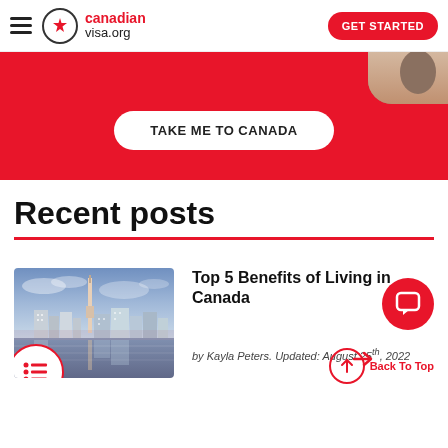canadianvisa.org — GET STARTED
[Figure (screenshot): Red banner with TAKE ME TO CANADA button and partial city photo in top-right corner]
Recent posts
[Figure (photo): Toronto skyline at dusk with CN Tower and city buildings reflected in water]
Top 5 Benefits of Living in Canada
by Kayla Peters. Updated: August 25th, 2022